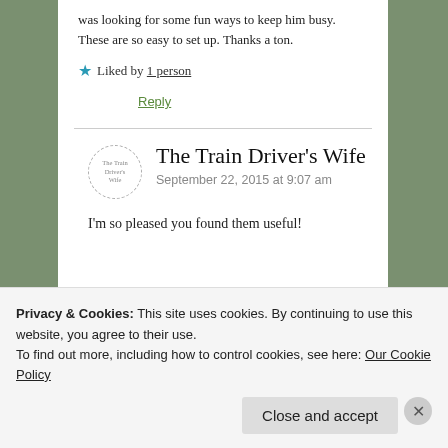was looking for some fun ways to keep him busy. These are so easy to set up. Thanks a ton.
★ Liked by 1 person
Reply
The Train Driver's Wife
September 22, 2015 at 9:07 am
I'm so pleased you found them useful!
Privacy & Cookies: This site uses cookies. By continuing to use this website, you agree to their use. To find out more, including how to control cookies, see here: Our Cookie Policy
Close and accept